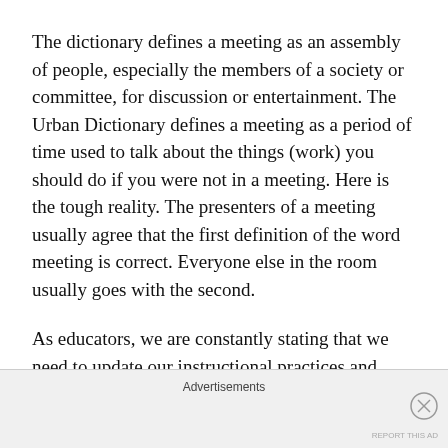The dictionary defines a meeting as an assembly of people, especially the members of a society or committee, for discussion or entertainment. The Urban Dictionary defines a meeting as a period of time used to talk about the things (work) you should do if you were not in a meeting. Here is the tough reality. The presenters of a meeting usually agree that the first definition of the word meeting is correct. Everyone else in the room usually goes with the second.
As educators, we are constantly stating that we need to update our instructional practices and content delivery to best meet the diverse needs of learners.
Advertisements